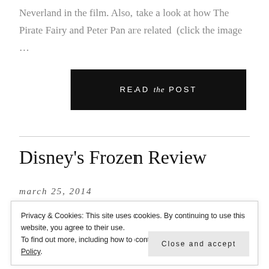Neverland in the film. Also, take a look at how The Pirate Fairy and Peter Pan are related  (click the image …
[Figure (other): Black button with text READ the POST]
Disney's Frozen Review
march 25, 2014
Privacy & Cookies: This site uses cookies. By continuing to use this website, you agree to their use.
To find out more, including how to control cookies, see here: Cookie Policy
Close and accept
to see so it will always hold a special place in our